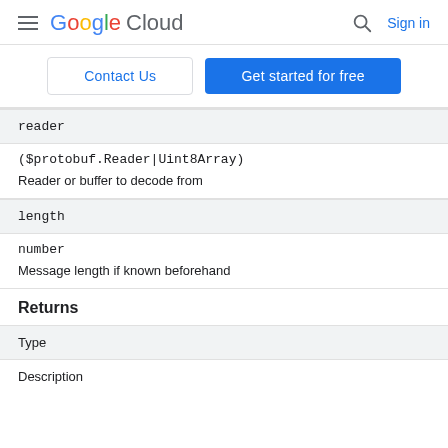Google Cloud  Sign in
Contact Us  Get started for free
| reader |
| --- |
| ($protobuf.Reader|Uint8Array) |
| Reader or buffer to decode from |
| length |
| --- |
| number |
| Message length if known beforehand |
Returns
| Type | Description |
| --- | --- |